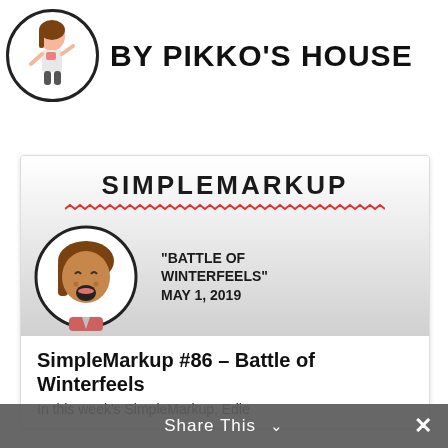[Figure (logo): Pikko's House logo - cartoon girl character in a circle with text BY PIKKO'S HOUSE]
[Figure (illustration): SimpleMarkup podcast episode card showing title 'SIMPLEMARKUP' with red zigzag underline, cartoon crying girl character in circle, and text 'BATTLE OF WINTERFEELS' MAY 1, 2019]
SimpleMarkup #86 – Battle of Winterfeels
In this week's SimpleMarkup, Edie
Share This